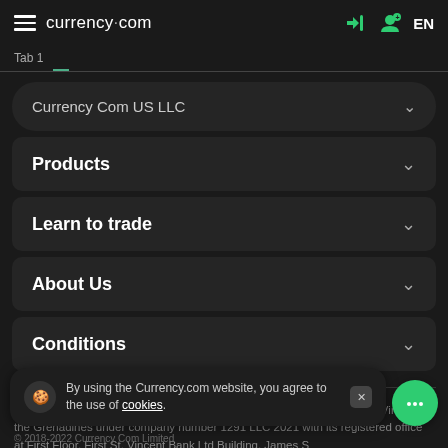currency.com
Currency Com US LLC
Products
Learn to trade
About Us
Conditions
Currency Com Global LLC is a limited liability company registered in St. Vincent & the Grenadines under company number 1291 LLC 2021 with its registered office at First Floor, First St. Vincent Bank Ltd Building, James S
By using the Currency.com website, you agree to the use of cookies.
© 2018-2022 Currency Com Limited